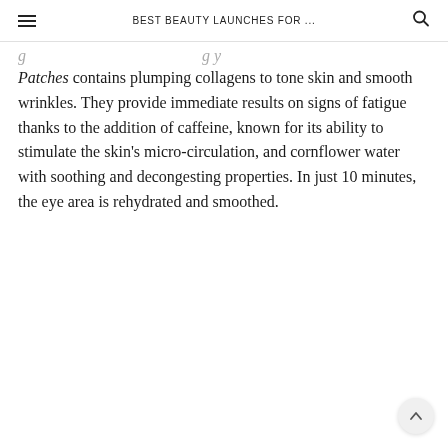BEST BEAUTY LAUNCHES FOR ...
Patches contains plumping collagens to tone skin and smooth wrinkles. They provide immediate results on signs of fatigue thanks to the addition of caffeine, known for its ability to stimulate the skin's micro-circulation, and cornflower water with soothing and decongesting properties. In just 10 minutes, the eye area is rehydrated and smoothed.